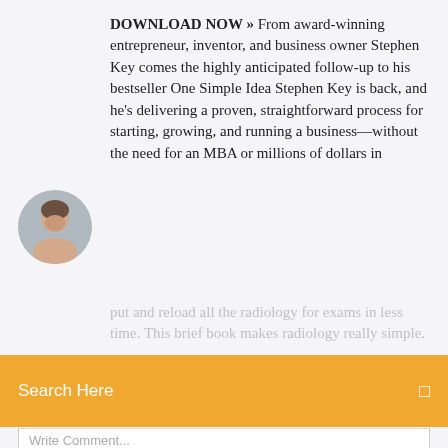DOWNLOAD NOW » From award-winning entrepreneur, inventor, and business owner Stephen Key comes the highly anticipated follow-up to his bestseller One Simple Idea Stephen Key is back, and he's delivering a proven, straightforward process for starting, growing, and running a business—without the need for an MBA or millions of dollars in
[Figure (photo): Headshot of a man, cropped circular avatar]
put and reload all the radiology for exams in less time. This brief book makes radiology really simple.
Search Here
Leave a Reply
Write Comment...